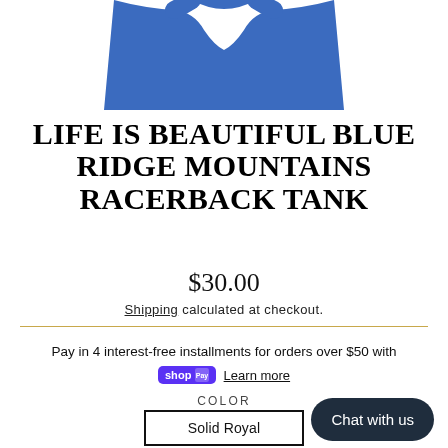[Figure (photo): Bottom portion of a blue racerback tank top product photo, showing the shoulder/neckline area on white background]
LIFE IS BEAUTIFUL BLUE RIDGE MOUNTAINS RACERBACK TANK
$30.00
Shipping calculated at checkout.
Pay in 4 interest-free installments for orders over $50 with shop Pay Learn more
COLOR
Solid Royal
Chat with us